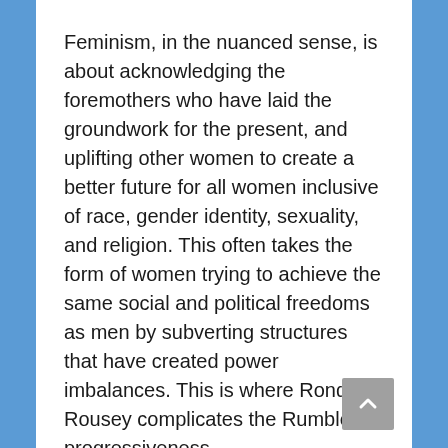Feminism, in the nuanced sense, is about acknowledging the foremothers who have laid the groundwork for the present, and uplifting other women to create a better future for all women inclusive of race, gender identity, sexuality, and religion. This often takes the form of women trying to achieve the same social and political freedoms as men by subverting structures that have created power imbalances. This is where Ronda Rousey complicates the Rumble’s progressiveness.
With Rousey interrupting Asuka’s moment at the end of the pay-per-view, we were are snapped back to reality